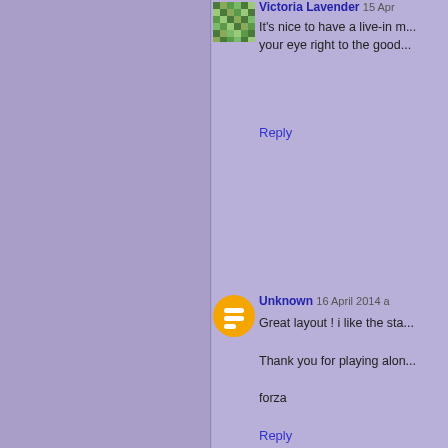Victoria Lavender 15 April... It's nice to have a live-in m... your eye right to the good...
Reply
Unknown 16 April 2014 a... Great layout ! i like the sta... Thank you for playing alon... forza
Reply
Crafty Cucumber 18 Apr... Fantastic layout. I love the...
Reply